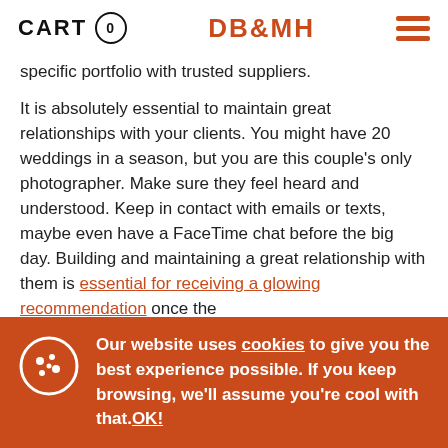CART 0 | DB&MH | [hamburger menu]
specific portfolio with trusted suppliers.
It is absolutely essential to maintain great relationships with your clients. You might have 20 weddings in a season, but you are this couple’s only photographer. Make sure they feel heard and understood. Keep in contact with emails or texts, maybe even have a FaceTime chat before the big day. Building and maintaining a great relationship with them is essential for receiving a glowing recommendation once the
Our website uses cookies to give you the best experience possible. If you keep browsing, we’ll assume you’re cool with that.OK!